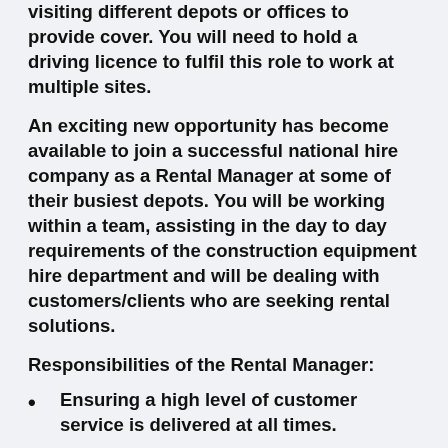visiting different depots or offices to provide cover. You will need to hold a driving licence to fulfil this role to work at multiple sites.
An exciting new opportunity has become available to join a successful national hire company as a Rental Manager at some of their busiest depots. You will be working within a team, assisting in the day to day requirements of the construction equipment hire department and will be dealing with customers/clients who are seeking rental solutions.
Responsibilities of the Rental Manager:
Ensuring a high level of customer service is delivered at all times.
Liaise back to the depot for all orders for on/off hires.